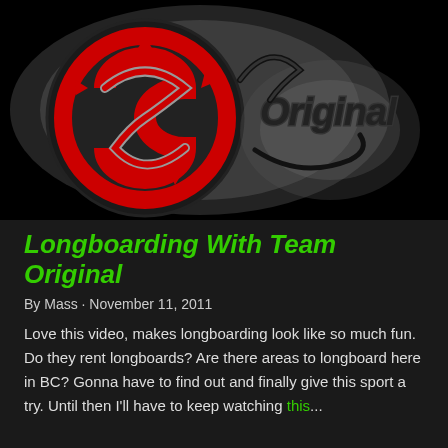[Figure (logo): Original Skateboards brand logo on black background — large red stylized 'S' circle emblem on left, with artistic graffiti-style cursive 'Original' text in black and grey on right, all on black background]
Longboarding With Team Original
By Mass · November 11, 2011
Love this video, makes longboarding look like so much fun. Do they rent longboards? Are there areas to longboard here in BC? Gonna have to find out and finally give this sport a try. Until then I'll have to keep watching this...